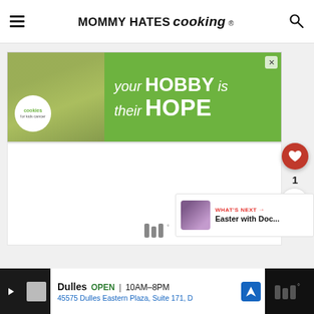MOMMY HATES cooking®
[Figure (screenshot): Advertisement banner for Cookies for Kids Cancer charity: green background with cookie image, text 'your HOBBY is their HOPE']
[Figure (screenshot): White content area placeholder below ad banner]
[Figure (infographic): Floating action buttons: red heart button, count '1', share button]
1
[Figure (screenshot): WHAT'S NEXT card: Easter with Doc...]
Dulles OPEN 10AM–8PM 45575 Dulles Eastern Plaza, Suite 171, D